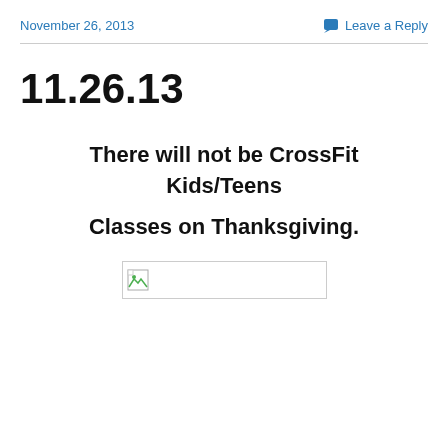November 26, 2013   Leave a Reply
11.26.13
There will not be CrossFit Kids/Teens Classes on Thanksgiving.
[Figure (other): Broken image placeholder — a small thumbnail with a broken image icon]